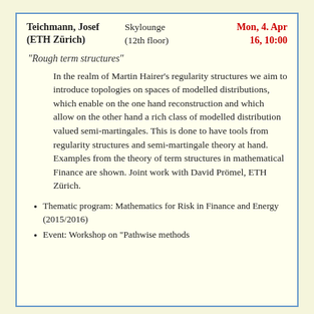Teichmann, Josef (ETH Zürich) | Skylounge (12th floor) | Mon, 4. Apr 16, 10:00
"Rough term structures"
In the realm of Martin Hairer's regularity structures we aim to introduce topologies on spaces of modelled distributions, which enable on the one hand reconstruction and which allow on the other hand a rich class of modelled distribution valued semi-martingales. This is done to have tools from regularity structures and semi-martingale theory at hand. Examples from the theory of term structures in mathematical Finance are shown. Joint work with David Prömel, ETH Zürich.
Thematic program: Mathematics for Risk in Finance and Energy (2015/2016)
Event: Workshop on "Pathwise methods...